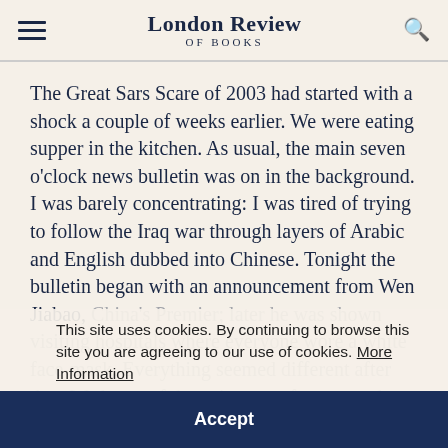London Review of Books
The Great Sars Scare of 2003 had started with a shock a couple of weeks earlier. We were eating supper in the kitchen. As usual, the main seven o'clock news bulletin was on in the background. I was barely concentrating: I was tired of trying to follow the Iraq war through layers of Arabic and English dubbed into Chinese. Tonight the bulletin began with an announcement from Wen Jiabao, China's Premier; later he was shown visiting hospitals where everyone wore a white face-mask. Everything seemed different after that. We knew of the existence of a new and atypical kind of pneumonia thanks to the Internet and the Hong Kong newspapers, but the Chinese media had been silent on the subject. Now the Government
This site uses cookies. By continuing to browse this site you are agreeing to our use of cookies. More Information
Accept